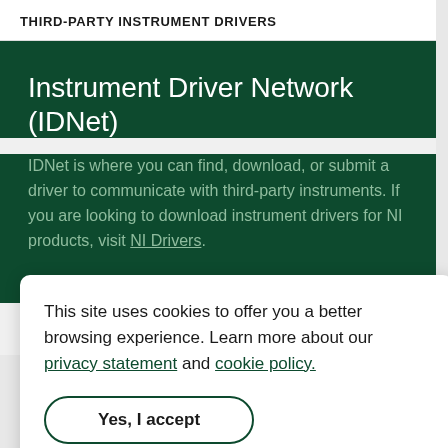THIRD-PARTY INSTRUMENT DRIVERS
Instrument Driver Network (IDNet)
IDNet is where you can find, download, or submit a driver to communicate with third-party instruments. If you are looking to download instrument drivers for NI products, visit NI Drivers.
This site uses cookies to offer you a better browsing experience. Learn more about our privacy statement and cookie policy.
Yes, I accept